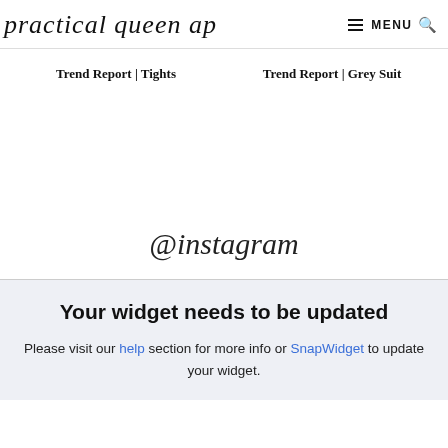practical queen ap   ≡ MENU 🔍
Trend Report | Tights
Trend Report | Grey Suit
@instagram
Your widget needs to be updated
Please visit our help section for more info or SnapWidget to update your widget.